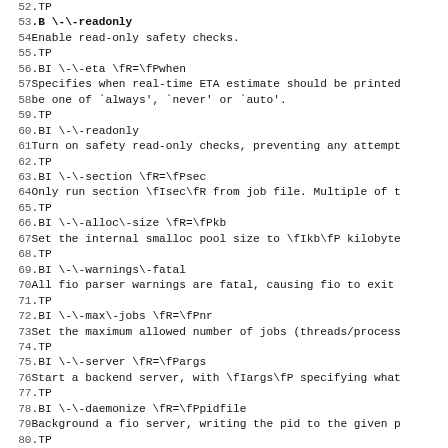52 .TP
53 .B \-\-readonly
54 Enable read-only safety checks.
55 .TP
56 .BI \-\-eta \fR=\fPwhen
57 Specifies when real-time ETA estimate should be printed
58 be one of `always', `never' or `auto'.
59 .TP
60 .BI \-\-readonly
61 Turn on safety read-only checks, preventing any attempt
62 .TP
63 .BI \-\-section \fR=\fPsec
64 Only run section \fIsec\fR from job file. Multiple of t
65 .TP
66 .BI \-\-alloc\-size \fR=\fPkb
67 Set the internal smalloc pool size to \fIkb\fP kilobyte
68 .TP
69 .BI \-\-warnings\-fatal
70 All fio parser warnings are fatal, causing fio to exit
71 .TP
72 .BI \-\-max\-jobs \fR=\fPnr
73 Set the maximum allowed number of jobs (threads/process
74 .TP
75 .BI \-\-server \fR=\fPargs
76 Start a backend server, with \fIargs\fP specifying what
77 .TP
78 .BI \-\-daemonize \fR=\fPpidfile
79 Background a fio server, writing the pid to the given p
80 .TP
81 .BI \-\-client \fR=\fPhost
82 Instead of running the jobs locally, send and run them
83 .SH "JOB FILE FORMAT"